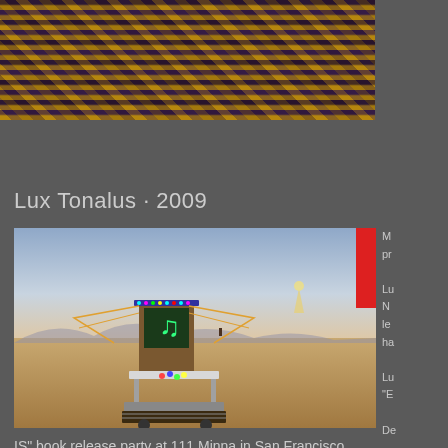[Figure (photo): Top portion of a photo showing zebra-stripe pattern in yellow, purple and brown colors]
Lux Tonalus · 2009
[Figure (photo): Photo of an arcade-style art installation on the Burning Man playa desert, with LED lights and a music note display, set against a twilight sky with mountains in the background. A red flag is visible on the right.]
M pr Lu N le ha Lu "E De
IS" book release party at 111 Minna in San Francisco.